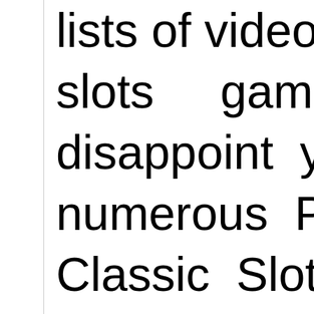lists of video slots gaming disappoint you numerous Pr Classic Slots games as S Black Diamon